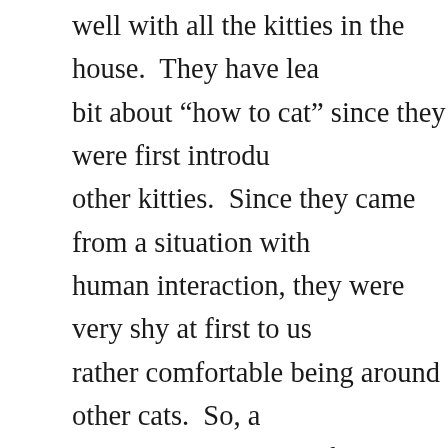well with all the kitties in the house.  They have lea bit about “how to cat” since they were first introdu other kitties.  Since they came from a situation with human interaction, they were very shy at first to us rather comfortable being around other cats.  So, a time, space, and lots of patients and love, they mel both their new kitty and human families.  Both Cha have watched us closely as we love, groom, and ca kitties under our roof and have come to learn that interaction is not such a bad thing after all.  Althou shy and likes receiving pets less than her brother, now come running toward us at the mere mention treats, or playtime.  The transition has taken lots o totally worth it.  They are both amazing kitties with